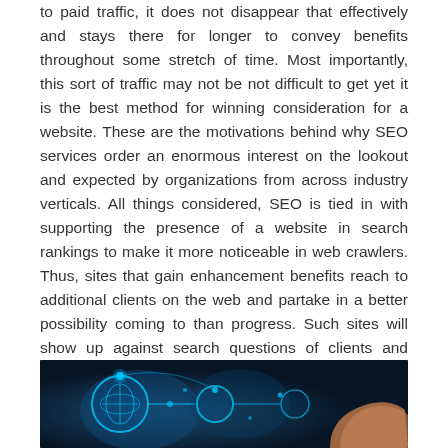to paid traffic, it does not disappear that effectively and stays there for longer to convey benefits throughout some stretch of time. Most importantly, this sort of traffic may not be not difficult to get yet it is the best method for winning consideration for a website. These are the motivations behind why SEO services order an enormous interest on the lookout and expected by organizations from across industry verticals. All things considered, SEO is tied in with supporting the presence of a website in search rankings to make it more noticeable in web crawlers. Thus, sites that gain enhancement benefits reach to additional clients on the web and partake in a better possibility coming to than progress. Such sites will show up against search questions of clients and hence, they will grab the eye of additional clients and reach to a more extensive market and crowd.
[Figure (photo): A dark blue/teal technology-themed image showing glowing circular icons connected by lines, resembling a network or digital connectivity concept, with a hand visible on the right side.]